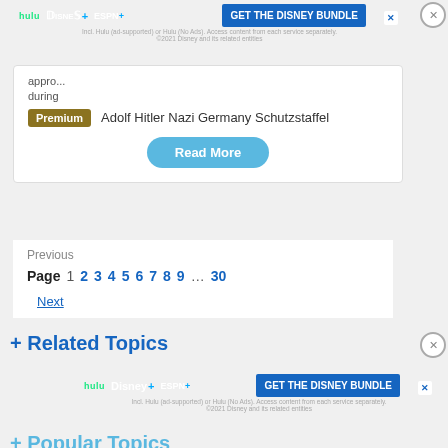[Figure (screenshot): Disney Bundle advertisement banner with Hulu, Disney+ and ESPN+ logos and GET THE DISNEY BUNDLE button]
appro... during
Premium  Adolf Hitler Nazi Germany Schutzstaffel
Read More
Previous
Page 1 2 3 4 5 6 7 8 9 ... 30
Next
+ Related Topics
[Figure (screenshot): Disney Bundle advertisement banner with Hulu, Disney+ and ESPN+ logos and GET THE DISNEY BUNDLE button]
+ Popular Topics